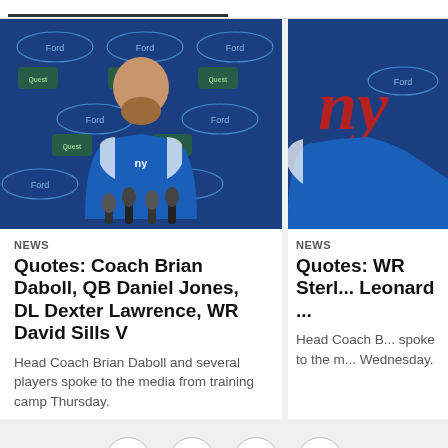[Figure (photo): NY Giants Head Coach Brian Daboll at a press conference podium, wearing a blue NY Giants polo shirt, with sponsors (Ford, Quest Diagnostics) backdrop behind him. Microphones in foreground.]
NEWS
Quotes: Coach Brian Daboll, QB Daniel Jones, DL Dexter Lawrence, WR David Sills V
Head Coach Brian Daboll and several players spoke to the media from training camp Thursday.
[Figure (photo): Partial view of second NY Giants press conference photo showing NY Giants logo on sponsor backdrop]
NEWS
Quotes: WR Sterli... Leonard ...
Head Coach B... spoke to the m... Wednesday.